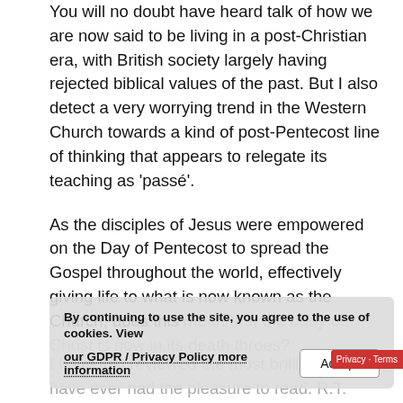You will no doubt have heard talk of how we are now said to be living in a post-Christian era, with British society largely having rejected biblical values of the past. But I also detect a very worrying trend in the Western Church towards a kind of post-Pentecost line of thinking that appears to relegate its teaching as 'passé'.
As the disciples of Jesus were empowered on the Day of Pentecost to spread the Gospel throughout the world, effectively giving life to what is now known as the Church, does this mean that the body of Christ is now in its death throes?
By continuing to use the site, you agree to the use of cookies. View our GDPR / Privacy Policy more information
Accept
I have just reviewed the most brilliant book I have ever had the pleasure to read. R.T.